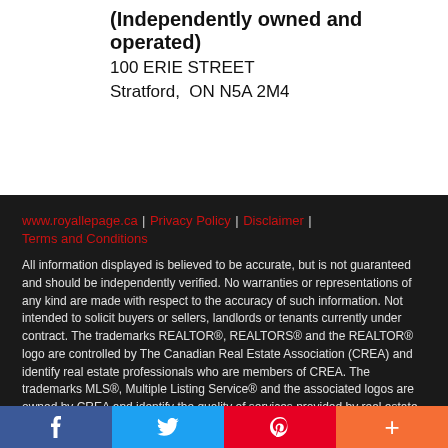(Independently owned and operated)
100 ERIE STREET
Stratford,  ON N5A 2M4
www.royallepage.ca  | Privacy Policy  | Disclaimer  | Terms and Conditions
All information displayed is believed to be accurate, but is not guaranteed and should be independently verified. No warranties or representations of any kind are made with respect to the accuracy of such information. Not intended to solicit buyers or sellers, landlords or tenants currently under contract. The trademarks REALTOR®, REALTORS® and the REALTOR® logo are controlled by The Canadian Real Estate Association (CREA) and identify real estate professionals who are members of CREA. The trademarks MLS®, Multiple Listing Service® and the associated logos are owned by CREA and identify the quality of services provided by real estate professionals who are members of CREA.
REALTOR® contact information provided to facilitate inquiries from
f  |  Twitter bird  |  p  |  +